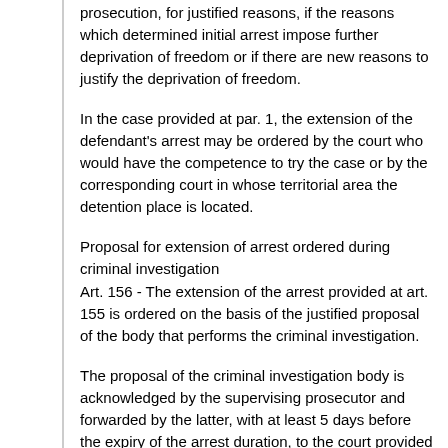prosecution, for justified reasons, if the reasons which determined initial arrest impose further deprivation of freedom or if there are new reasons to justify the deprivation of freedom.
In the case provided at par. 1, the extension of the defendant's arrest may be ordered by the court who would have the competence to try the case or by the corresponding court in whose territorial area the detention place is located.
Proposal for extension of arrest ordered during criminal investigation
Art. 156 - The extension of the arrest provided at art. 155 is ordered on the basis of the justified proposal of the body that performs the criminal investigation.
The proposal of the criminal investigation body is acknowledged by the supervising prosecutor and forwarded by the latter, with at least 5 days before the expiry of the arrest duration, to the court provided at art. 155 par. 2.